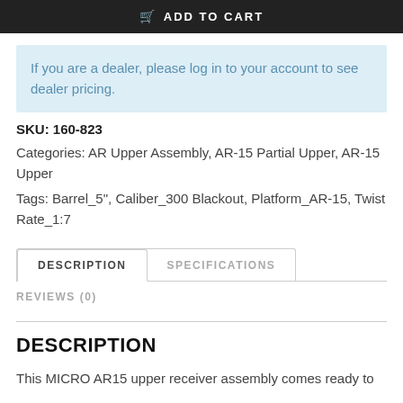ADD TO CART
If you are a dealer, please log in to your account to see dealer pricing.
SKU: 160-823
Categories: AR Upper Assembly, AR-15 Partial Upper, AR-15 Upper
Tags: Barrel_5", Caliber_300 Blackout, Platform_AR-15, Twist Rate_1:7
DESCRIPTION
SPECIFICATIONS
REVIEWS (0)
DESCRIPTION
This MICRO AR15 upper receiver assembly comes ready to